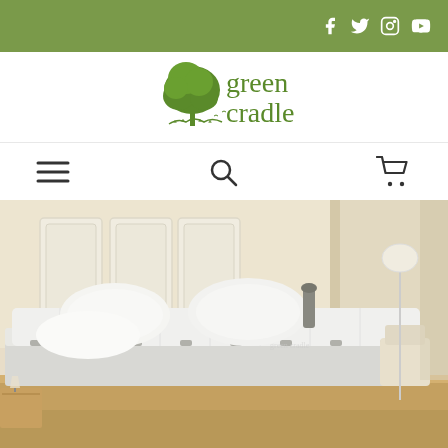Green Cradle website header with social media icons (Facebook, Twitter, Instagram, YouTube)
[Figure (logo): Green Cradle logo with a green tree and text 'green cradle']
[Figure (other): Navigation bar with hamburger menu, search icon, and shopping cart icon]
[Figure (photo): Hero image of a bedroom with a Green Cradle mattress on a bed frame, white pillows, upholstered headboard, lamp, and chair in background]